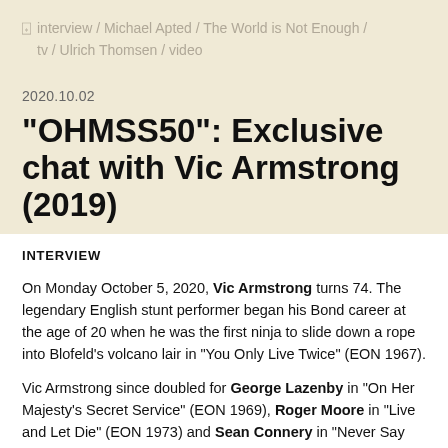interview / Michael Apted / The World is Not Enough / tv / Ulrich Thomsen / video
2020.10.02
“OHMSS50”: Exclusive chat with Vic Armstrong (2019)
INTERVIEW
On Monday October 5, 2020, Vic Armstrong turns 74. The legendary English stunt performer began his Bond career at the age of 20 when he was the first ninja to slide down a rope into Blofeld's volcano lair in "You Only Live Twice" (EON 1967).
Vic Armstrong since doubled for George Lazenby in "On Her Majesty's Secret Service" (EON 1969), Roger Moore in "Live and Let Die" (EON 1973) and Sean Connery in "Never Say Never Again" (Taliafilm 1983) before graduating to second unit director and stunt coordinator on the set of Pierce Brosnan's Bond films.